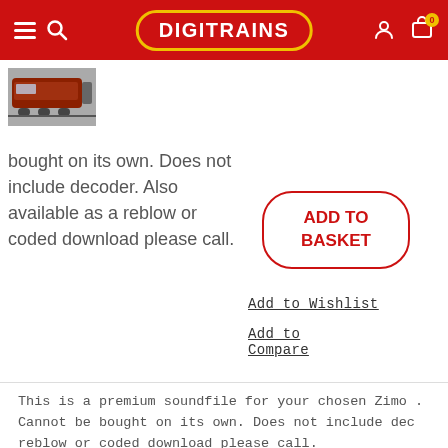DIGITRAINS
bought on its own. Does not include decoder. Also available as a reblow or coded download please call.
[Figure (screenshot): Small thumbnail image of a red/brown train locomotive]
[Figure (other): ADD TO BASKET button outlined in red]
Add to Wishlist
Add to Compare
This is a premium soundfile for your chosen Zimo . Cannot be bought on its own. Does not include dec reblow or coded download please call.